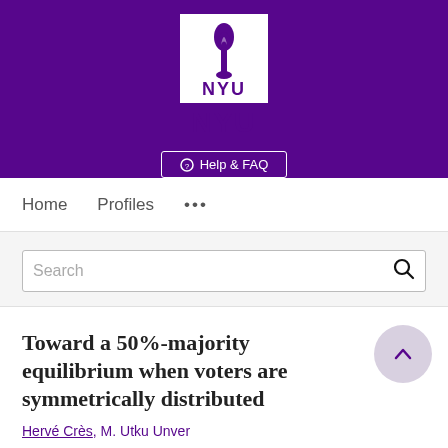[Figure (logo): NYU (New York University) logo: white torch icon above NYU text in white, on purple background, with Help & FAQ button below]
Home   Profiles   ...
Search
Toward a 50%-majority equilibrium when voters are symmetrically distributed
Hervé Crès, M. Utku Unver